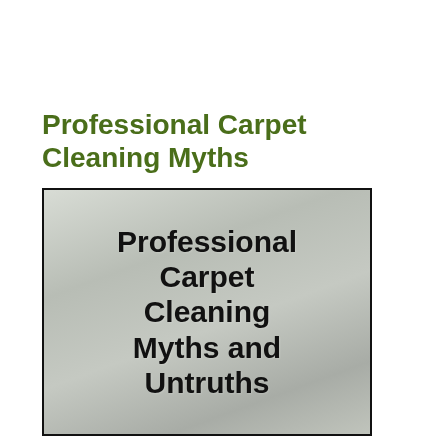Professional Carpet Cleaning Myths
[Figure (photo): Photo of a light-colored carpet with bold black text reading 'Professional Carpet Cleaning Myths and Untruths' overlaid on it.]